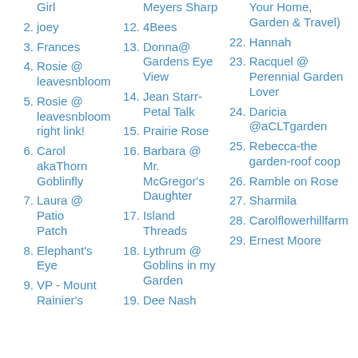Girl
Meyers Sharp
Your Home, Garden & Travel)
2. joey
12. 4Bees
22. Hannah
3. Frances
13. Donna@ Gardens Eye View
23. Racquel @ Perennial Garden Lover
4. Rosie @ leavesnbloom
14. Jean Starr-Petal Talk
24. Daricia @aCLTgarden
5. Rosie @ leavesnbloom right link!
15. Prairie Rose
25. Rebecca-the garden-roof coop
6. Carol akaThorn Goblinfly
16. Barbara @ Mr. McGregor's Daughter
26. Ramble on Rose
7. Laura @ Patio Patch
17. Island Threads
27. Sharmila
8. Elephant's Eye
18. Lythrum @ Goblins in my Garden
28. Carolflowerhillfarm
9. VP - Mount Rainier's
19. Dee Nash
29. Ernest Moore